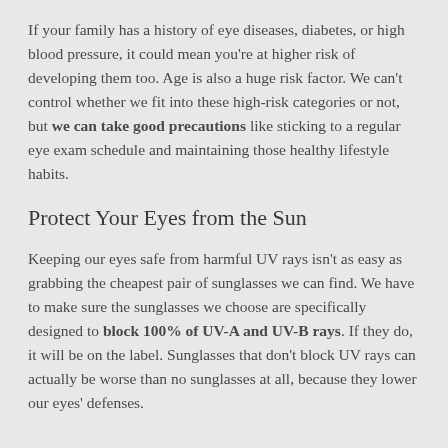If your family has a history of eye diseases, diabetes, or high blood pressure, it could mean you're at higher risk of developing them too. Age is also a huge risk factor. We can't control whether we fit into these high-risk categories or not, but we can take good precautions like sticking to a regular eye exam schedule and maintaining those healthy lifestyle habits.
Protect Your Eyes from the Sun
Keeping our eyes safe from harmful UV rays isn't as easy as grabbing the cheapest pair of sunglasses we can find. We have to make sure the sunglasses we choose are specifically designed to block 100% of UV-A and UV-B rays. If they do, it will be on the label. Sunglasses that don't block UV rays can actually be worse than no sunglasses at all, because they lower our eyes' defenses.